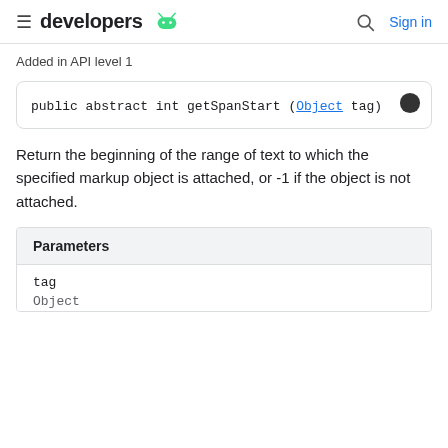developers [android icon] | Sign in
Added in API level 1
Return the beginning of the range of text to which the specified markup object is attached, or -1 if the object is not attached.
| Parameters |
| --- |
| tag | Object |